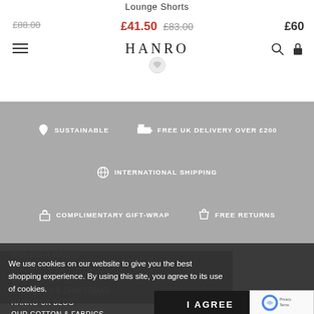Lounge Shorts
£88.00 (strikethrough) | £41.50 £83.00 (sale price) | £60 (right)
[Figure (logo): HANRO logo with emblem]
[Figure (infographic): Gray band with service features: SUSTAINABLE, FREE UK DELIVERY OVER £200, INTERNATIONAL SHIPPING, COMPLIMENTARY GIFT-WRAP, FREE RETURNS]
DISCOVER HANRO
OUR HISTORY
SUSTAINABILITY
MATERIALS & CRAFTSMANSHIP
HANRO UK BLOG
OUR COTTON & FABRICS
We use cookies on our website to give you the best shopping experience. By using this site, you agree to its use of cookies.
I AGREE